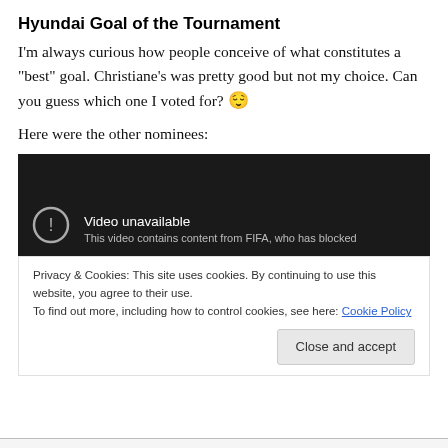Hyundai Goal of the Tournament
I'm always curious how people conceive of what constitutes a “best” goal. Christiane’s was pretty good but not my choice. Can you guess which one I voted for? 😌
Here were the other nominees:
[Figure (screenshot): Embedded YouTube video player showing 'Video unavailable' message. Text reads: 'This video contains content from FIFA, who has blocked' (cut off). A circular warning icon is visible on the left. The background is dark/black.]
Privacy & Cookies: This site uses cookies. By continuing to use this website, you agree to their use.
To find out more, including how to control cookies, see here: Cookie Policy
Close and accept